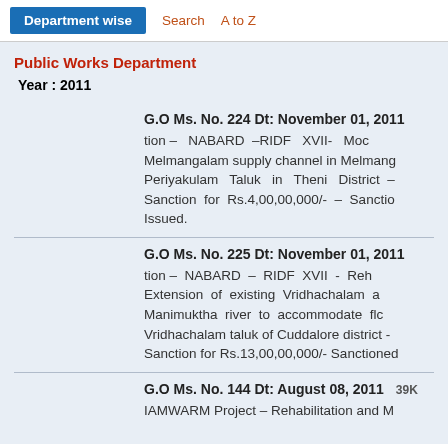Department wise   Search   A to Z
Public Works Department
Year : 2011
G.O Ms. No. 224 Dt: November 01, 2011
tion – NABARD –RIDF XVII- Moc Melmangalam supply channel in Melmang Periyakulam Taluk in Theni District – Sanction for Rs.4,00,00,000/- – Sanctio Issued.
G.O Ms. No. 225 Dt: November 01, 2011
tion – NABARD – RIDF XVII - Reh Extension of existing Vridhachalam a Manimuktha river to accommodate flc Vridhachalam taluk of Cuddalore district - Sanction for Rs.13,00,00,000/- Sanctioned
G.O Ms. No. 144 Dt: August 08, 2011   39K
IAMWARM Project – Rehabilitation and M